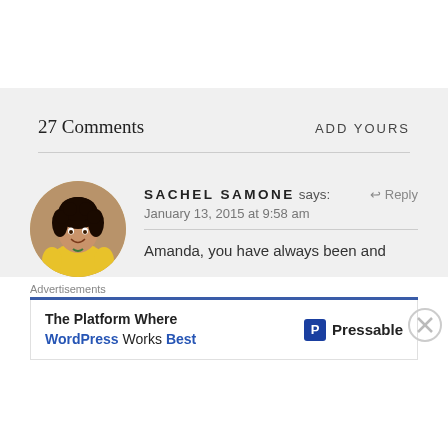27 Comments
ADD YOURS
SACHEL SAMONE says:  ↩ Reply
January 13, 2015 at 9:58 am
Amanda, you have always been and
Advertisements
The Platform Where WordPress Works Best  Pressable